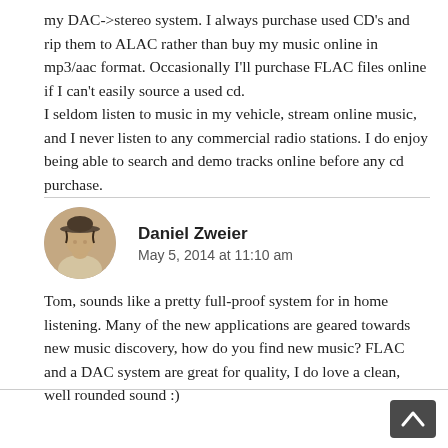my DAC->stereo system. I always purchase used CD's and rip them to ALAC rather than buy my music online in mp3/aac format. Occasionally I'll purchase FLAC files online if I can't easily source a used cd.
I seldom listen to music in my vehicle, stream online music, and I never listen to any commercial radio stations. I do enjoy being able to search and demo tracks online before any cd purchase.
[Figure (photo): Circular avatar portrait of Daniel Zweier, a person wearing a hat]
Daniel Zweier
May 5, 2014 at 11:10 am
Tom, sounds like a pretty full-proof system for in home listening. Many of the new applications are geared towards new music discovery, how do you find new music? FLAC and a DAC system are great for quality, I do love a clean, well rounded sound :)